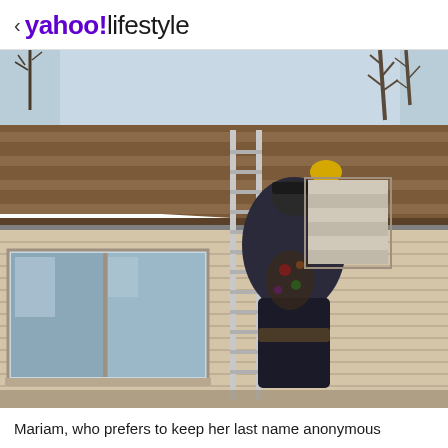< yahoo!lifestyle
[Figure (photo): A person seen from behind climbing a ladder against a house, carrying shingles up to a roof. The house has horizontal beige siding and a large window. The roof has brown shingles. Bare winter trees are visible in the background against a light blue sky.]
Mariam, who prefers to keep her last name anonymous